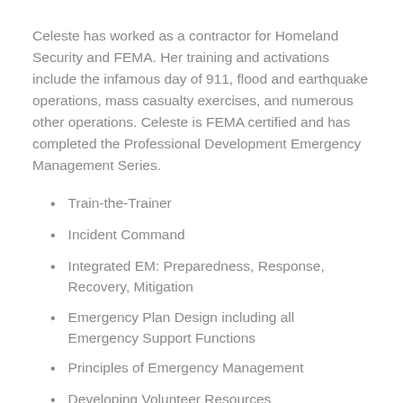Celeste has worked as a contractor for Homeland Security and FEMA. Her training and activations include the infamous day of 911, flood and earthquake operations, mass casualty exercises, and numerous other operations. Celeste is FEMA certified and has completed the Professional Development Emergency Management Series.
Train-the-Trainer
Incident Command
Integrated EM: Preparedness, Response, Recovery, Mitigation
Emergency Plan Design including all Emergency Support Functions
Principles of Emergency Management
Developing Volunteer Resources
Emergency Planning and Development
Leadership and Influence, Decision Making in